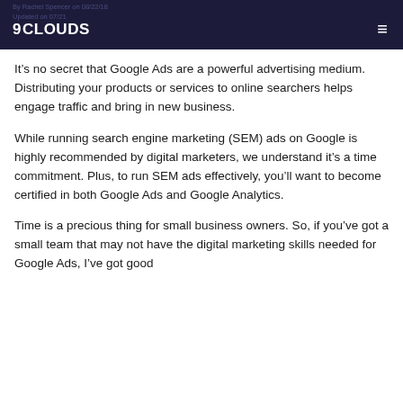9 CLOUDS | By Rachel Spencer on 08/22/18 | Updated on 07/21
It’s no secret that Google Ads are a powerful advertising medium. Distributing your products or services to online searchers helps engage traffic and bring in new business.
While running search engine marketing (SEM) ads on Google is highly recommended by digital marketers, we understand it’s a time commitment. Plus, to run SEM ads effectively, you’ll want to become certified in both Google Ads and Google Analytics.
Time is a precious thing for small business owners. So, if you’ve got a small team that may not have the digital marketing skills needed for Google Ads, I’ve got good